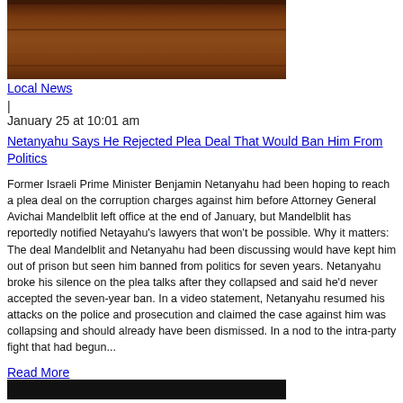[Figure (photo): Photograph showing a wooden surface or furniture, dark brown tones, partially cropped at top of page]
Local News
|
January 25 at 10:01 am
Netanyahu Says He Rejected Plea Deal That Would Ban Him From Politics
Former Israeli Prime Minister Benjamin Netanyahu had been hoping to reach a plea deal on the corruption charges against him before Attorney General Avichai Mandelblit left office at the end of January, but Mandelblit has reportedly notified Netayahu's lawyers that won't be possible. Why it matters: The deal Mandelblit and Netanyahu had been discussing would have kept him out of prison but seen him banned from politics for seven years. Netanyahu broke his silence on the plea talks after they collapsed and said he'd never accepted the seven-year ban. In a video statement, Netanyahu resumed his attacks on the police and prosecution and claimed the case against him was collapsing and should already have been dismissed. In a nod to the intra-party fight that had begun...
Read More
[Figure (photo): Dark/black image at bottom of page, partially cropped]